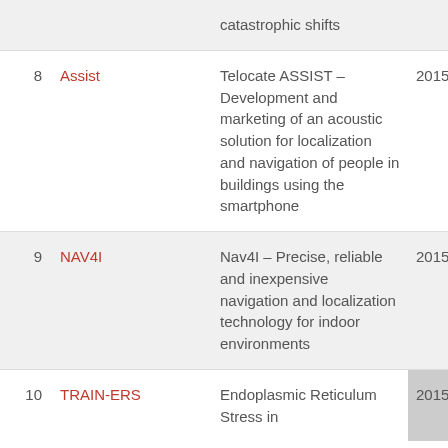| # | Name | Description | Year |
| --- | --- | --- | --- |
|  | catastrophic shifts |  |  |
| 8 | Assist | Telocate ASSIST – Development and marketing of an acoustic solution for localization and navigation of people in buildings using the smartphone | 2015 |
| 9 | NAV4I | Nav4I – Precise, reliable and inexpensive navigation and localization technology for indoor environments | 2015 |
| 10 | TRAIN-ERS | Endoplasmic Reticulum Stress in | 2015 |